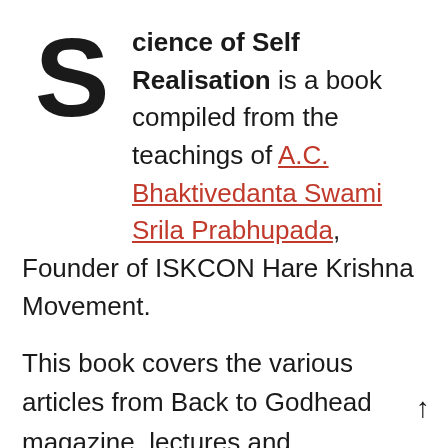Science of Self Realisation is a book compiled from the teachings of A.C. Bhaktivedanta Swami Srila Prabhupada, Founder of ISKCON Hare Krishna Movement.
This book covers the various articles from Back to Godhead magazine, lectures and conversations of Prabhupada with people from different strata of society.
After reading this book, one's consciousness is elevated to understand the inner realms of how one is not this body but the soul who is Satchidananda (eternal, full of knowledge and full of bliss) and whose eternal position is being